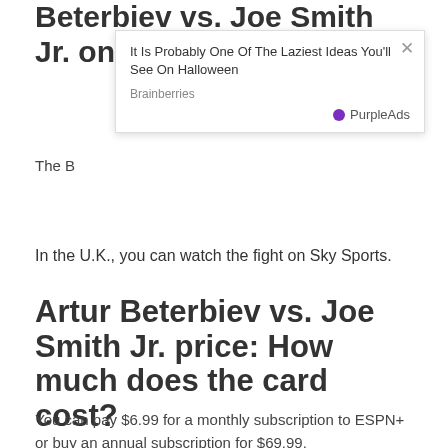Beterbiev vs. Joe Smith Jr. on …
[Figure (other): Advertisement overlay: 'It Is Probably One Of The Laziest Ideas You'll See On Halloween' — Brainberries, PurpleAds]
In the U.K., you can watch the fight on Sky Sports.
Artur Beterbiev vs. Joe Smith Jr. price: How much does the card cost?
You can pay $6.99 for a monthly subscription to ESPN+ or buy an annual subscription for $69.99.
| Product | Overall Prices |
| --- | --- |
| ESPN+ Monthly Subscription | $6.99/month |